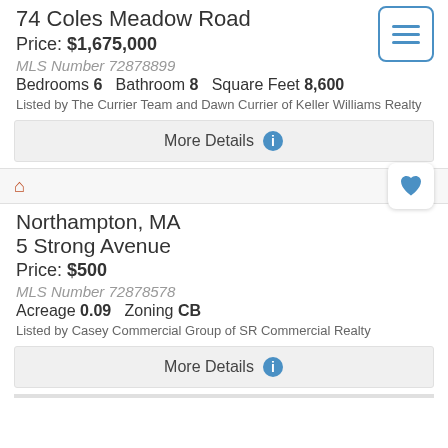74 Coles Meadow Road
Price: $1,675,000
MLS Number 72878899
Bedrooms 6   Bathroom 8   Square Feet 8,600
Listed by The Currier Team and Dawn Currier of Keller Williams Realty
More Details
Northampton, MA
5 Strong Avenue
Price: $500
MLS Number 72878578
Acreage 0.09   Zoning CB
Listed by Casey Commercial Group of SR Commercial Realty
More Details